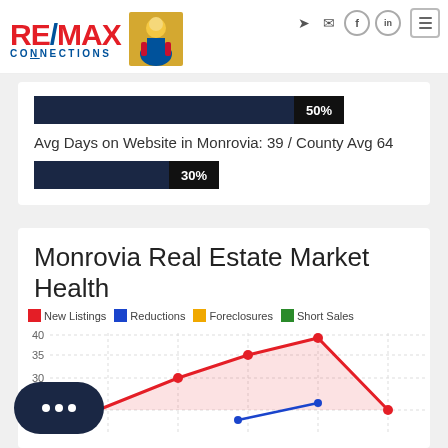RE/MAX CONNECTIONS
[Figure (bar-chart): 50% bar]
Avg Days on Website in Monrovia: 39 / County Avg 64
[Figure (bar-chart): 30% bar]
Monrovia Real Estate Market Health
[Figure (line-chart): Line chart showing New Listings (red), Reductions (blue), Foreclosures (orange), Short Sales (green). Y-axis shows values 15, 30, 35, 40. Chart is partially visible, cut off at bottom.]